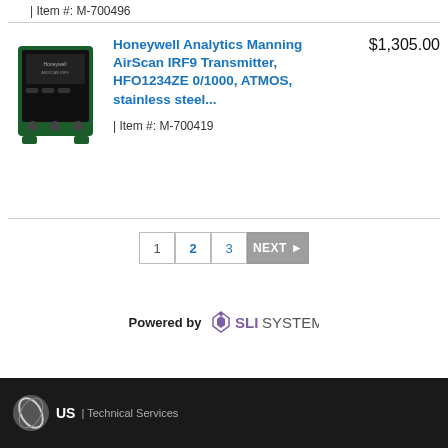| Item #: M-700496
[Figure (photo): Honeywell Analytics Manning AirScan IRF9 Transmitter product photo — green and black box-shaped industrial gas sensor device]
Honeywell Analytics Manning AirScan IRF9 Transmitter, HFO1234ZE 0/1000, ATMOS, stainless steel...
$1,305.00
| Item #: M-700419
1  2  3  NEXT ▶
Powered by SLI SYSTEMS.
US Technical Services